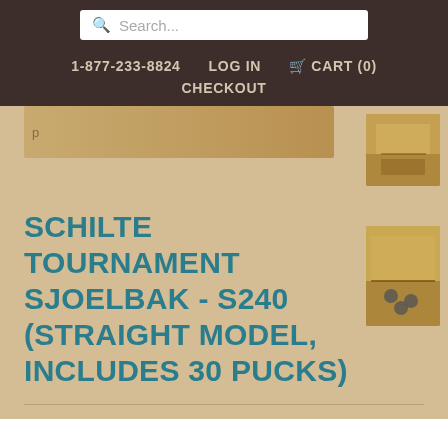Search...
1-877-233-8824   LOG IN   CART (0)   CHECKOUT
[Figure (photo): Partial product image strip at top]
[Figure (photo): Thumbnail image of Sjoelbak board game top view]
[Figure (photo): Thumbnail image of Sjoelbak board game side view with pucks]
SCHILTE TOURNAMENT SJOELBAK - S240 (STRAIGHT MODEL, INCLUDES 30 PUCKS)